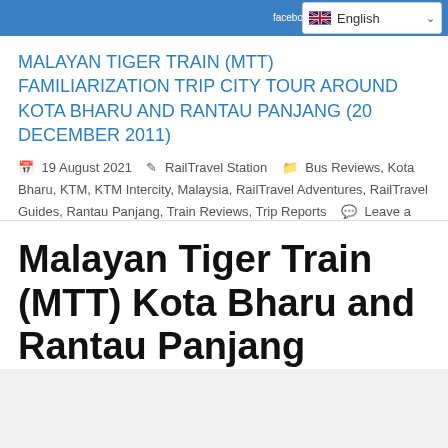facebook.com/ | English
MALAYAN TIGER TRAIN (MTT) FAMILIARIZATION TRIP CITY TOUR AROUND KOTA BHARU AND RANTAU PANJANG (20 DECEMBER 2011)
19 August 2021 | RailTravel Station | Bus Reviews, Kota Bharu, KTM, KTM Intercity, Malaysia, RailTravel Adventures, RailTravel Guides, Rantau Panjang, Train Reviews, Trip Reports | Leave a comment
Malayan Tiger Train (MTT) Kota Bharu and Rantau Panjang